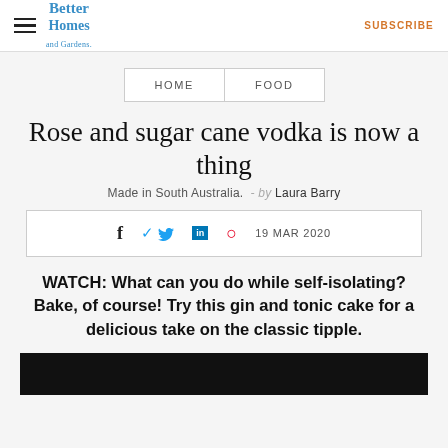Better Homes and Gardens   SUBSCRIBE
HOME   FOOD
Rose and sugar cane vodka is now a thing
Made in South Australia. - by Laura Barry
f  [twitter]  in  [pinterest]  19 MAR 2020
WATCH: What can you do while self-isolating? Bake, of course! Try this gin and tonic cake for a delicious take on the classic tipple.
[Figure (other): Black video player bar]